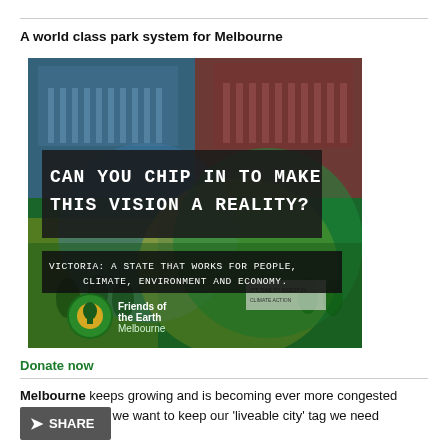A world class park system for Melbourne
[Figure (photo): Friends of the Earth Melbourne campaign image with text overlays: 'CAN YOU CHIP IN TO MAKE THIS VISION A REALITY?' and 'VICTORIA: A STATE THAT WORKS FOR PEOPLE, CLIMATE, ENVIRONMENT AND ECONOMY.' The image shows a colourful composite of Melbourne landmarks and protest scenes with green, blue, red, and yellow tinted overlapping circles. Friends of the Earth Melbourne logo in the bottom left.]
Donate now
Melbourne keeps growing and is becoming ever more congested and crowded. If we want to keep our 'liveable city' tag we need